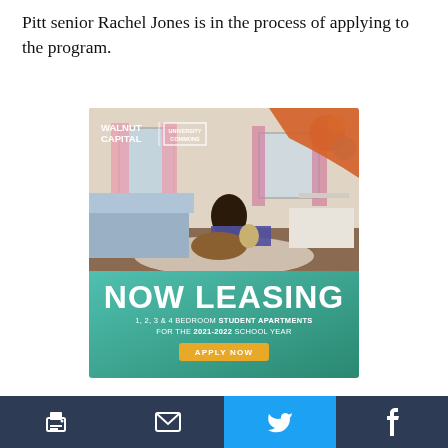Pitt senior Rachel Jones is in the process of applying to the program.
[Figure (photo): Advertisement for Walnut Capital University Commons student apartments. Shows a student relaxing in a furnished bedroom with pink curtains. Text reads: NOW LEASING, 1, 2, 3 & 4 BEDROOM STUDENT APARTMENTS FOR THE 2021-2022 SCHOOL YEAR, APPLY NOW]
“Everyone wants to make millions and eventually give back,” Jones said. “Why not start out your life with
Print | Email | Twitter | Facebook